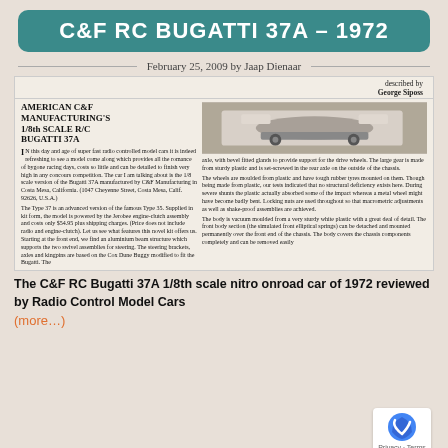C&F RC BUGATTI 37A – 1972
February 25, 2009 by Jaap Dienaar
[Figure (photo): Scanned magazine article page showing 'American C&F Manufacturing's 1/8th Scale R/C Bugatti 37A' with a photograph of the model car kit and two columns of article text. Top right corner shows 'described by George Siposs'.]
The C&F RC Bugatti 37A 1/8th scale nitro onroad car of 1972 reviewed by Radio Control Model Cars
(more…)